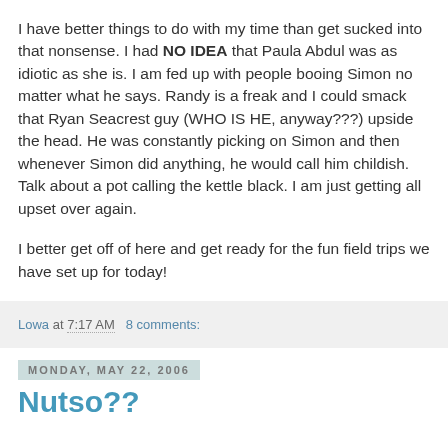I have better things to do with my time than get sucked into that nonsense. I had NO IDEA that Paula Abdul was as idiotic as she is. I am fed up with people booing Simon no matter what he says. Randy is a freak and I could smack that Ryan Seacrest guy (WHO IS HE, anyway???) upside the head. He was constantly picking on Simon and then whenever Simon did anything, he would call him childish. Talk about a pot calling the kettle black. I am just getting all upset over again.
I better get off of here and get ready for the fun field trips we have set up for today!
Lowa at 7:17 AM   8 comments:
Monday, May 22, 2006
Nutso??
Tonight at supper Jock asked me what I call him on my blog. I hesitated, because as I said, I don't like to label. I decided